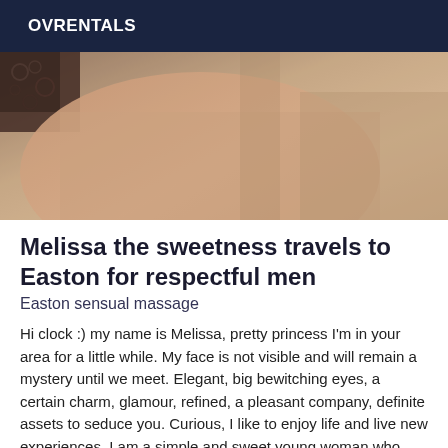OVRENTALS
[Figure (photo): Close-up photo of a person's body/torso with dark lace fabric visible in upper left corner, warm skin tones, blurred background with beige/tan wall]
Melissa the sweetness travels to Easton for respectful men
Easton sensual massage
Hi clock :) my name is Melissa, pretty princess I'm in your area for a little while. My face is not visible and will remain a mystery until we meet. Elegant, big bewitching eyes, a certain charm, glamour, refined, a pleasant company, definite assets to seduce you. Curious, I like to enjoy life and live new experiences. I am a simple and sweet young woman who offers to come and join you.